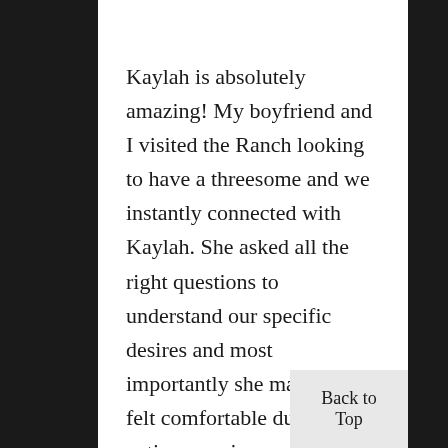Kaylah is absolutely amazing! My boyfriend and I visited the Ranch looking to have a threesome and we instantly connected with Kaylah. She asked all the right questions to understand our specific desires and most importantly she made sure I felt comfortable during the entire experience.
We both enjoyed every minute with Kaylah. Her skin is so soft and her mouth works
Back to Top